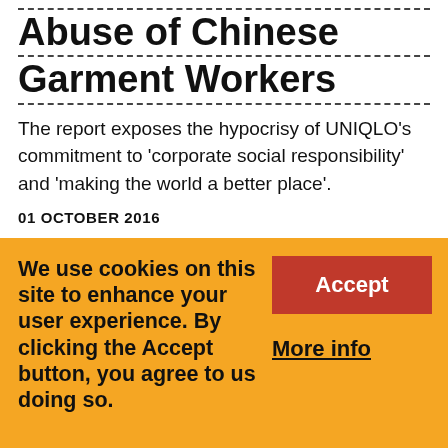Abuse of Chinese Garment Workers
The report exposes the hypocrisy of UNIQLO's commitment to 'corporate social responsibility' and 'making the world a better place'.
01 OCTOBER 2016
[Figure (photo): Industrial or outdoor scene with smoke/steam, grey and green tones]
We use cookies on this site to enhance your user experience. By clicking the Accept button, you agree to us doing so.